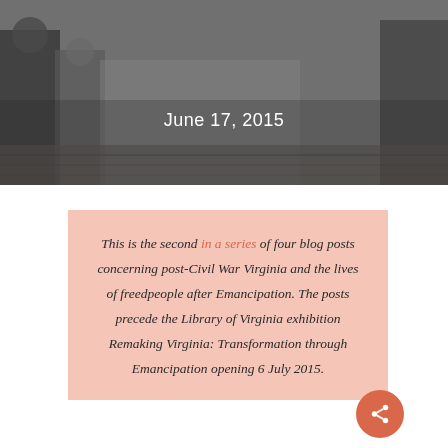[Figure (photo): Black and white historical photograph showing people in 19th century clothing, with a date overlay reading 'June 17, 2015']
This is the second in a series of four blog posts concerning post-Civil War Virginia and the lives of freedpeople after Emancipation. The posts precede the Library of Virginia exhibition Remaking Virginia: Transformation through Emancipation opening 6 July 2015.